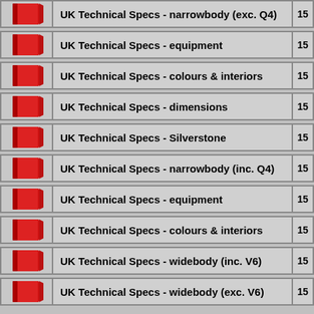| Icon | Title | Page |
| --- | --- | --- |
| [book icon] | UK Technical Specs - narrowbody (exc. Q4) | 15 |
| [book icon] | UK Technical Specs - equipment | 15 |
| [book icon] | UK Technical Specs - colours & interiors | 15 |
| [book icon] | UK Technical Specs - dimensions | 15 |
| [book icon] | UK Technical Specs - Silverstone | 15 |
| [book icon] | UK Technical Specs - narrowbody (inc. Q4) | 15 |
| [book icon] | UK Technical Specs - equipment | 15 |
| [book icon] | UK Technical Specs - colours & interiors | 15 |
| [book icon] | UK Technical Specs - widebody (inc. V6) | 15 |
| [book icon] | UK Technical Specs - widebody (exc. V6) | 15 |